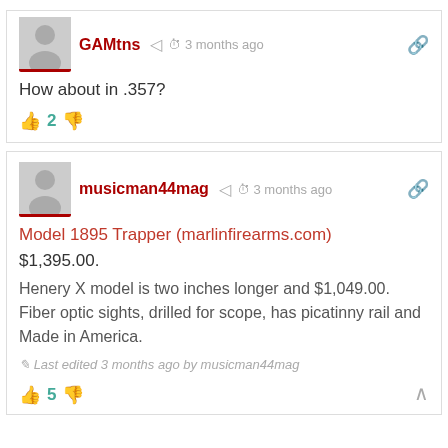GAMtns  3 months ago
How about in .357?
2 (votes)
musicman44mag  3 months ago
Model 1895 Trapper (marlinfirearms.com)
$1,395.00.
Henery X model is two inches longer and $1,049.00. Fiber optic sights, drilled for scope, has picatinny rail and Made in America.
Last edited 3 months ago by musicman44mag
5 (votes)